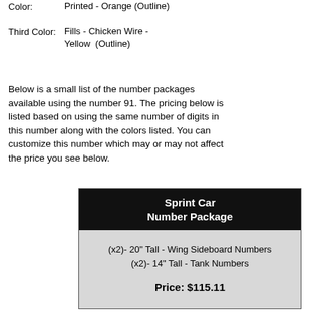Color:  Printed - Orange (Outline)
Third Color:  Fills - Chicken Wire - Yellow  (Outline)
Below is a small list of the number packages available using the number 91. The pricing below is listed based on using the same number of digits in this number along with the colors listed. You can customize this number which may or may not affect the price you see below.
| Sprint Car Number Package |
| --- |
| (x2)- 20" Tall - Wing Sideboard Numbers
(x2)- 14" Tall - Tank Numbers

Price: $115.11 |